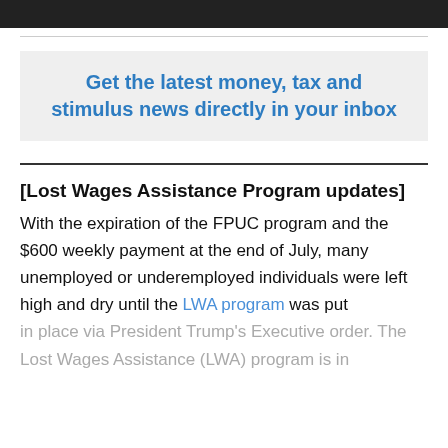[Figure (photo): Dark banner image at top of page, partially visible]
Get the latest money, tax and stimulus news directly in your inbox
[Lost Wages Assistance Program updates]
With the expiration of the FPUC program and the $600 weekly payment at the end of July, many unemployed or underemployed individuals were left high and dry until the LWA program was put in place via President Trump's Executive order. The Lost Wages Assistance (LWA) program is in